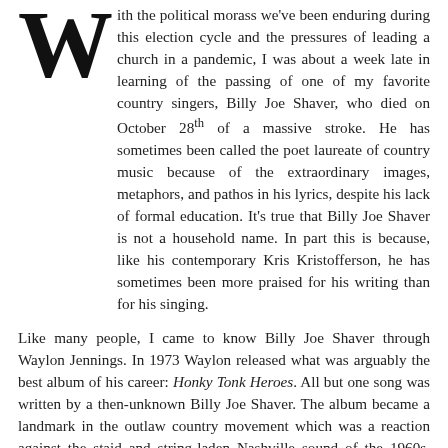With the political morass we've been enduring during this election cycle and the pressures of leading a church in a pandemic, I was about a week late in learning of the passing of one of my favorite country singers, Billy Joe Shaver, who died on October 28th of a massive stroke. He has sometimes been called the poet laureate of country music because of the extraordinary images, metaphors, and pathos in his lyrics, despite his lack of formal education. It's true that Billy Joe Shaver is not a household name. In part this is because, like his contemporary Kris Kristofferson, he has sometimes been more praised for his writing than for his singing.
Like many people, I came to know Billy Joe Shaver through Waylon Jennings. In 1973 Waylon released what was arguably the best album of his career: Honky Tonk Heroes. All but one song was written by a then-unknown Billy Joe Shaver. The album became a landmark in the outlaw country movement which was a reaction against the staid and string-laden Nashville sound of the 1960s. Honky Tonk Heroes was like an audio revolution. The tracks were harder, grittier, and more earthy than almost all of the country music of that time, and even today, they sound fresh and fierce, having aged much better than so much country music of that era.